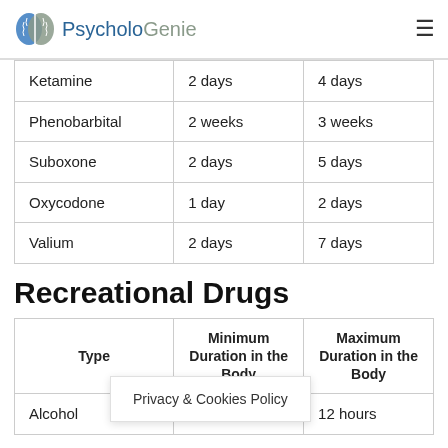PsycholoGenie
| Ketamine | 2 days | 4 days |
| Phenobarbital | 2 weeks | 3 weeks |
| Suboxone | 2 days | 5 days |
| Oxycodone | 1 day | 2 days |
| Valium | 2 days | 7 days |
Recreational Drugs
| Type | Minimum Duration in the Body | Maximum Duration in the Body |
| --- | --- | --- |
| Alcohol |  | 12 hours |
Privacy & Cookies Policy